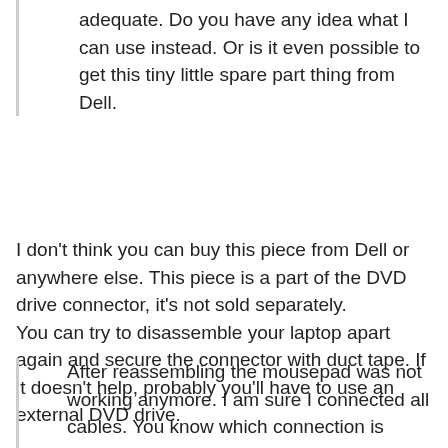adequate. Do you have any idea what I can use instead. Or is it even possible to get this tiny little spare part thing from Dell.
I don't think you can buy this piece from Dell or anywhere else. This piece is a part of the DVD drive connector, it's not sold separately.
You can try to disassemble your laptop apart again and secure the connector with duct tape. If it doesn't help, probably you'll have to use an external DVD drive.
After reassembling the mousepad was not working anymore. I am sure I connected all cables. You know which connection is responsible for the